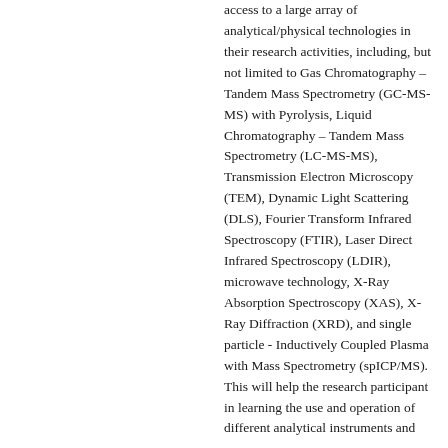access to a large array of analytical/physical technologies in their research activities, including, but not limited to Gas Chromatography – Tandem Mass Spectrometry (GC-MS-MS) with Pyrolysis, Liquid Chromatography – Tandem Mass Spectrometry (LC-MS-MS), Transmission Electron Microscopy (TEM), Dynamic Light Scattering (DLS), Fourier Transform Infrared Spectroscopy (FTIR), Laser Direct Infrared Spectroscopy (LDIR), microwave technology, X-Ray Absorption Spectroscopy (XAS), X-Ray Diffraction (XRD), and single particle - Inductively Coupled Plasma with Mass Spectrometry (spICP/MS). This will help the research participant in learning the use and operation of different analytical instruments and